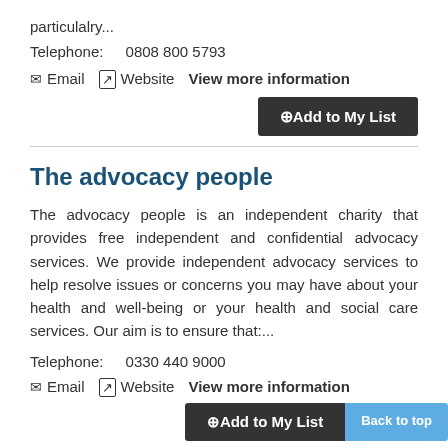particulalry...
Telephone:   0808 800 5793
✉ Email   ↗ Website   View more information
+ Add to My List
The advocacy people
The advocacy people is an independent charity that provides free independent and confidential advocacy services. We provide independent advocacy services to help resolve issues or concerns you may have about your health and well-being or your health and social care services. Our aim is to ensure that:...
Telephone:   0330 440 9000
✉ Email   ↗ Website   View more information
+ Add to My List